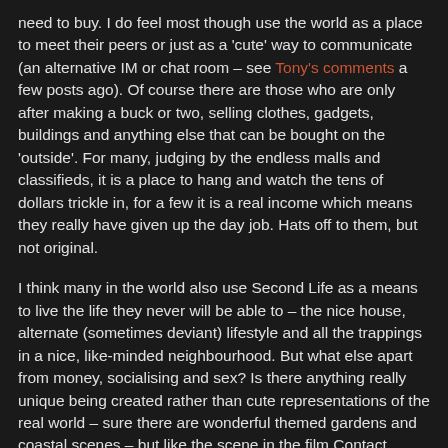need to buy. I do feel most though use the world as a place to meet their peers or just as a 'cute' way to communicate (an alternative IM or chat room – see Tony's comments a few posts ago). Of course there are those who are only after making a buck or two, selling clothes, gadgets, buildings and anything else that can be bought on the 'outside'. For many, judging by the endless malls and classifieds, it is a place to hang and watch the tens of dollars trickle in, for a few it is a real income which means they really have given up the day job. Hats off to them, but not original.
I think many in the world also use Second Life as a means to live the life they never will be able to – the nice house, alternate (sometimes deviant) lifestyle and all the trappings in a nice, like-minded neighbourhood. But what else apart from money, socialising and sex? Is there anything really unique being created rather than cute representations of the real world – sure there are wonderful themed gardens and coastal scenes – but like the scene in the film Contact where Jodie Foster was told (I paraphrase) – "we did it this way so as not to scare you" when